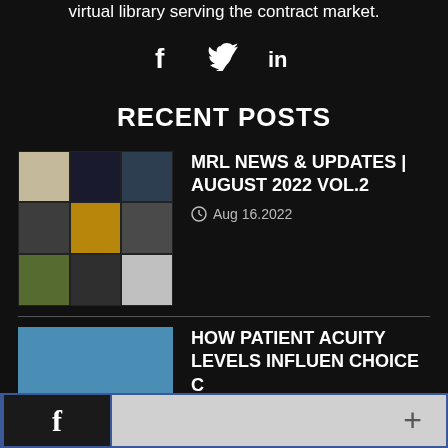virtual library serving the contract market.
[Figure (infographic): Social media icons: Facebook (f), Twitter (bird), LinkedIn (in)]
RECENT POSTS
[Figure (photo): Collage of office furniture and seating images in a 3x3 grid]
MRL NEWS & UPDATES | AUGUST 2022 VOL.2
Aug 16.2022
[Figure (photo): Interior photo of a patient care or waiting room with blue walls and seating]
HOW PATIENT ACUITY LEVELS INFLUEN CHOICE C